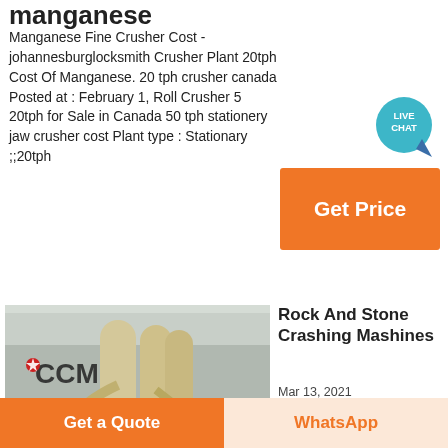manganese
Manganese Fine Crusher Cost - johannesburglocksmith Crusher Plant 20tph Cost Of Manganese. 20 tph crusher canada Posted at : February 1, Roll Crusher 5 20tph for Sale in Canada 50 tph stationery jaw crusher cost Plant type : Stationary ;;20tph
[Figure (infographic): Live Chat badge - teal circle with speech bubble icon and text LIVE CHAT]
[Figure (infographic): Orange Get Price button]
[Figure (photo): Industrial milling machines (CCM branded) inside a factory warehouse]
Rock And Stone Crashing Mashines
Mar 13, 2021
Crusher machine mainly includes jaw crusher
[Figure (infographic): Bottom bar with Get a Quote orange button and WhatsApp button]